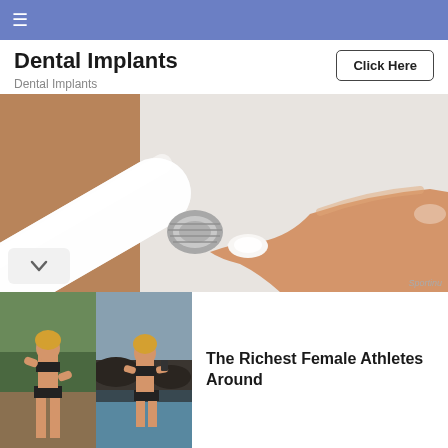≡
Dental Implants
Dental Implants
Click Here
[Figure (photo): Close-up photo of a hand squeezing a white tube, with product coming out onto a finger, blurred background]
[Figure (photo): Two photos side-by-side of a blonde woman in a black bikini on a beach]
The Richest Female Athletes Around
Sportinu